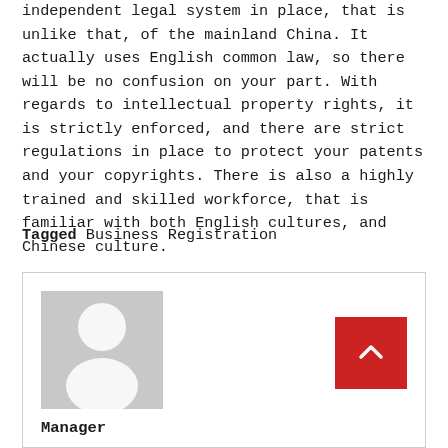independent legal system in place, that is unlike that, of the mainland China. It actually uses English common law, so there will be no confusion on your part. With regards to intellectual property rights, it is strictly enforced, and there are strict regulations in place to protect your patents and your copyrights. There is also a highly trained and skilled workforce, that is familiar with both English cultures, and Chinese culture.
Tagged Business Registration
[Figure (illustration): Author profile box with a gray placeholder avatar silhouette and a red scroll-to-top button with a chevron/arrow icon]
Manager